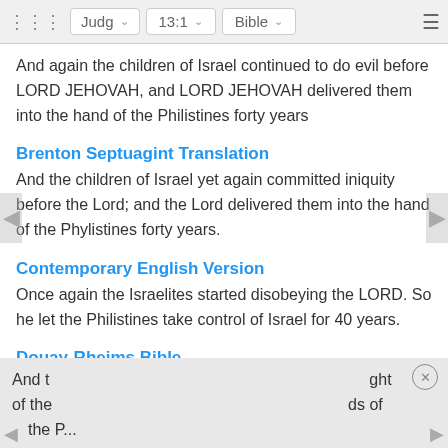⠿  Judg  ∨  13:1  ∨  Bible  ∨  ≡
And again the children of Israel continued to do evil before LORD JEHOVAH, and LORD JEHOVAH delivered them into the hand of the Philistines forty years
Brenton Septuagint Translation
And the children of Israel yet again committed iniquity before the Lord; and the Lord delivered them into the hand of the Phylistines forty years.
Contemporary English Version
Once again the Israelites started disobeying the LORD. So he let the Philistines take control of Israel for 40 years.
Douay-Rheims Bible
And t[he children of Israel did evil again in the si]ght of the [Lord: who delivered them into the ha]nds of [the P...]